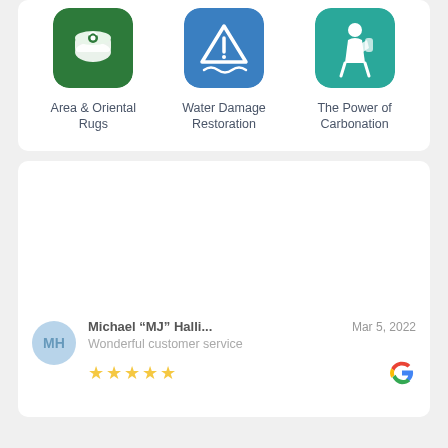[Figure (illustration): Service icon for Area & Oriental Rugs — green rounded square with white rolled rug graphic]
Area & Oriental Rugs
[Figure (illustration): Service icon for Water Damage Restoration — blue rounded square with white warning/water wave graphic]
Water Damage Restoration
[Figure (illustration): Service icon for The Power of Carbonation — teal rounded square with white person carrying equipment graphic]
The Power of Carbonation
Michael “MJ” Halli...
Mar 5, 2022
Wonderful customer service
[Figure (illustration): Five gold/yellow stars rating]
[Figure (logo): Google G logo in multicolor]